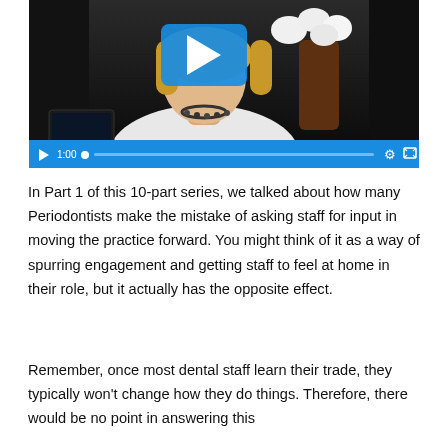[Figure (screenshot): Video player screenshot showing a woman with blonde hair wearing a white shirt and dark necklace, with white flowers in background. A blue play button overlay is visible in the center. Video controls bar at bottom shows play button, 1:00 timestamp, progress bar, settings gear and fullscreen icons on blue background.]
In Part 1 of this 10-part series, we talked about how many Periodontists make the mistake of asking staff for input in moving the practice forward. You might think of it as a way of spurring engagement and getting staff to feel at home in their role, but it actually has the opposite effect.
Remember, once most dental staff learn their trade, they typically won't change how they do things. Therefore, there would be no point in answering this